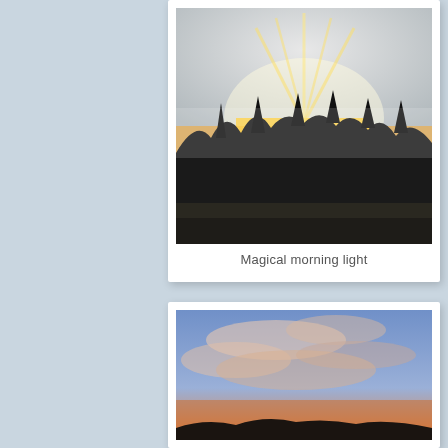[Figure (photo): Sunrise or early morning light scene with golden rays bursting through dark silhouetted trees over a frost-covered field. Misty sky with warm orange and yellow light at the horizon.]
Magical morning light
[Figure (photo): Sky scene at sunset with blue sky and wispy pink and golden clouds. Dark tree silhouettes at the bottom edge. Warm orange tones at the lower sky.]